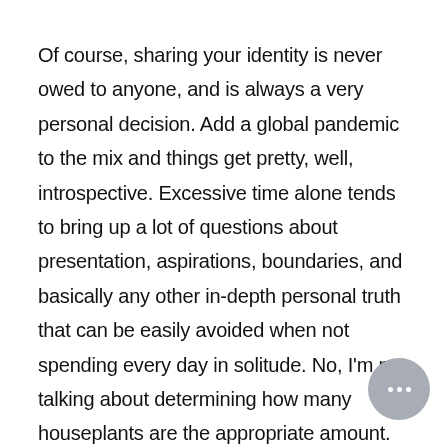Of course, sharing your identity is never owed to anyone, and is always a very personal decision. Add a global pandemic to the mix and things get pretty, well, introspective. Excessive time alone tends to bring up a lot of questions about presentation, aspirations, boundaries, and basically any other in-depth personal truth that can be easily avoided when not spending every day in solitude. No, I'm not talking about determining how many houseplants are the appropriate amount. Although, the answer is obviously that you never have enough.